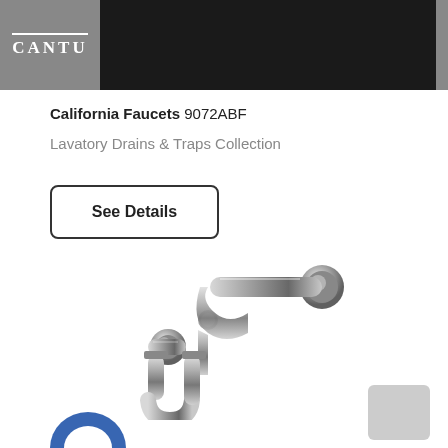CANTU
California Faucets 9072ABF
Lavatory Drains & Traps Collection
See Details
[Figure (photo): Chrome P-trap plumbing fixture for lavatory drain, showing curved pipe assembly with connectors on both ends, silver/chrome finish, photographed on white background.]